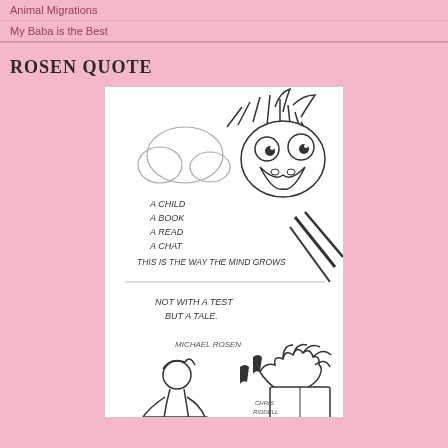Animal Migrations
My Baba is the Best
ROSEN QUOTE
[Figure (illustration): Hand-drawn illustration with a wild-looking creature and a child reading a book. Text on illustration reads: 'A Child A Book A Read A Chat This is the way the Mind Grows Not with a Test But a Tale. Michael Rosen'. Artist signature: Chris Riddell.]